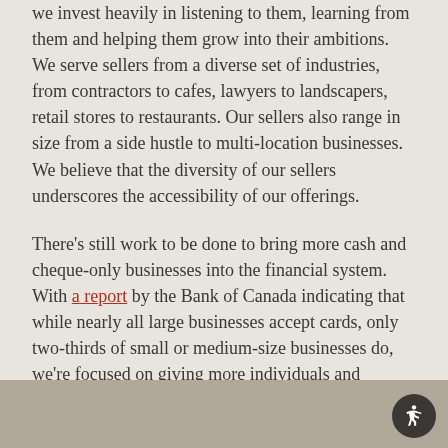we invest heavily in listening to them, learning from them and helping them grow into their ambitions. We serve sellers from a diverse set of industries, from contractors to cafes, lawyers to landscapers, retail stores to restaurants. Our sellers also range in size from a side hustle to multi-location businesses. We believe that the diversity of our sellers underscores the accessibility of our offerings.
There's still work to be done to bring more cash and cheque-only businesses into the financial system. With a report by the Bank of Canada indicating that while nearly all large businesses accept cards, only two-thirds of small or medium-size businesses do, we're focused on giving more individuals and businesses across Canada access to card payments so more people can participate in the economy.